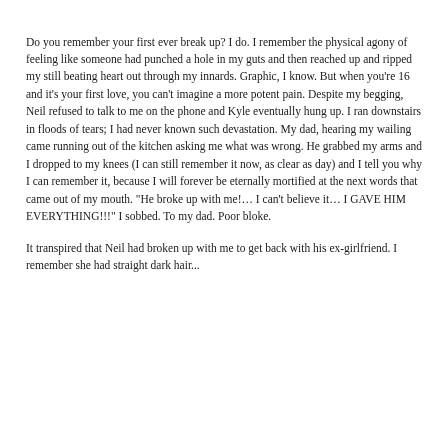Do you remember your first ever break up? I do. I remember the physical agony of feeling like someone had punched a hole in my guts and then reached up and ripped my still beating heart out through my innards. Graphic, I know. But when you're 16 and it's your first love, you can't imagine a more potent pain. Despite my begging, Neil refused to talk to me on the phone and Kyle eventually hung up. I ran downstairs in floods of tears; I had never known such devastation. My dad, hearing my wailing came running out of the kitchen asking me what was wrong. He grabbed my arms and I dropped to my knees (I can still remember it now, as clear as day) and I tell you why I can remember it, because I will forever be eternally mortified at the next words that came out of my mouth. "He broke up with me!… I can't believe it… I GAVE HIM EVERYTHING!!!" I sobbed. To my dad. Poor bloke.
It transpired that Neil had broken up with me to get back with his ex-girlfriend. I remember she had straight dark hair...